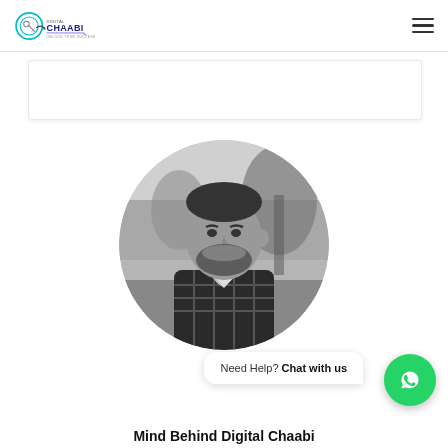[Figure (logo): Digital Chaabi logo with circular key icon and text 'DIGITAL CHAABI UNLOCK YOUR SUCCESS']
[Figure (photo): Black and white circular portrait photo of a bearded man in a plaid shirt, smiling, with blurred trees in background]
Need Help? Chat with us
[Figure (logo): WhatsApp green circular button with phone/chat icon]
Mind Behind Digital Chaabi